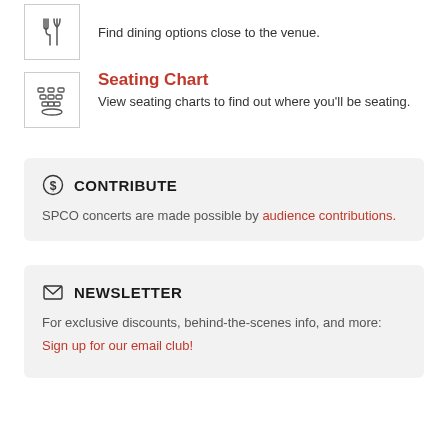Find dining options close to the venue.
Seating Chart
View seating charts to find out where you'll be seating.
CONTRIBUTE
SPCO concerts are made possible by audience contributions.
NEWSLETTER
For exclusive discounts, behind-the-scenes info, and more:
Sign up for our email club!